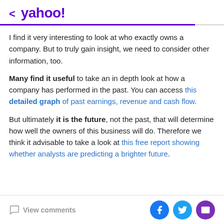< yahoo!
I find it very interesting to look at who exactly owns a company. But to truly gain insight, we need to consider other information, too.
Many find it useful to take an in depth look at how a company has performed in the past. You can access this detailed graph of past earnings, revenue and cash flow.
But ultimately it is the future, not the past, that will determine how well the owners of this business will do. Therefore we think it advisable to take a look at this free report showing whether analysts are predicting a brighter future.
View comments